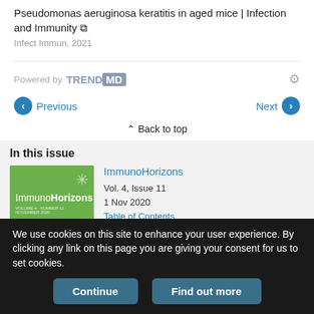Pseudomonas aeruginosa keratitis in aged mice | Infection and Immunity
Infect Immun, 2021
Powered by TRENDMD
Previous
Next
Back to top
In this issue
[Figure (illustration): ImmunoHorizons journal cover - green background with journal name and microscopy image]
ImmunoHorizons
Vol. 4, Issue 11
1 Nov 2020
Table of Contents
We use cookies on this site to enhance your user experience. By clicking any link on this page you are giving your consent for us to set cookies.
Continue
Find out more